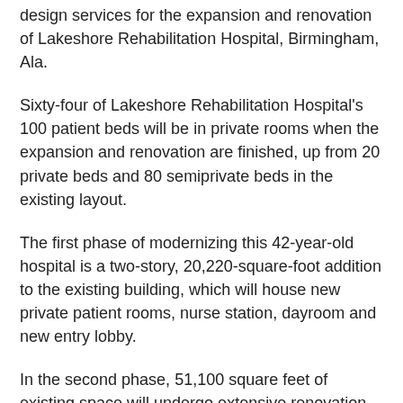design services for the expansion and renovation of Lakeshore Rehabilitation Hospital, Birmingham, Ala.
Sixty-four of Lakeshore Rehabilitation Hospital's 100 patient beds will be in private rooms when the expansion and renovation are finished, up from 20 private beds and 80 semiprivate beds in the existing layout.
The first phase of modernizing this 42-year-old hospital is a two-story, 20,220-square-foot addition to the existing building, which will house new private patient rooms, nurse station, dayroom and new entry lobby.
In the second phase, 51,100 square feet of existing space will undergo extensive renovation to convert shared rooms into private rooms. Construction is slated to begin this year and finish in the first quarter of 2019.